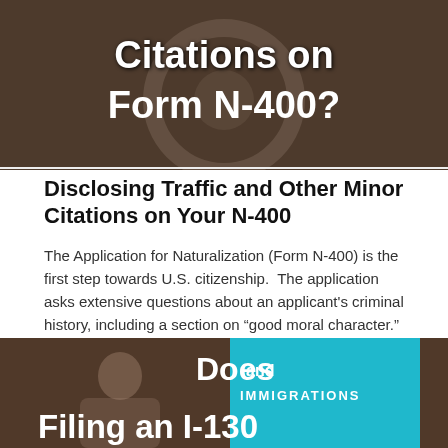[Figure (photo): Hero image showing hands near a car wheel, with overlaid white bold text reading 'Citations on Form N-400?']
Disclosing Traffic and Other Minor Citations on Your N-400
The Application for Naturalization (Form N-400) is the first step towards U.S. citizenship. The application asks extensive questions about an applicant's criminal history, including a section on “good moral character.” It can be daunting to figure out how much detail is...
Continue Reading...
[Figure (photo): Hero image showing a person and a teal immigration-themed graphic, with overlaid bold white text reading 'Does' and 'Filing an I-130']